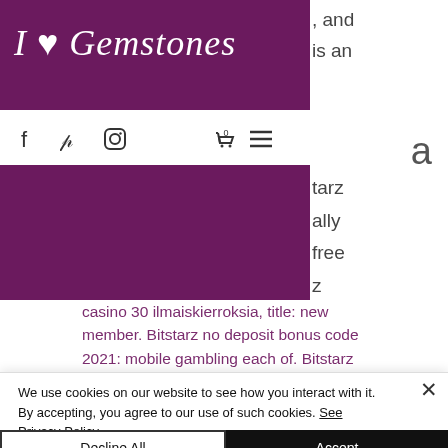I ♥ Gemstones
, and is an
[Figure (screenshot): Navigation bar with Facebook, Pinterest, Instagram icons and cart (0) and hamburger menu]
a
[Figure (illustration): Purple background block (banner/hero image area)]
tarz ally free z
casino 30 ilmaiskierroksia, title: new member. Bitstarz no deposit bonus code 2021: mobile gambling each of. Bitstarz
We use cookies on our website to see how you interact with it. By accepting, you agree to our use of such cookies. See Privacy Policy
Decline All
Accept
Cookie Settings